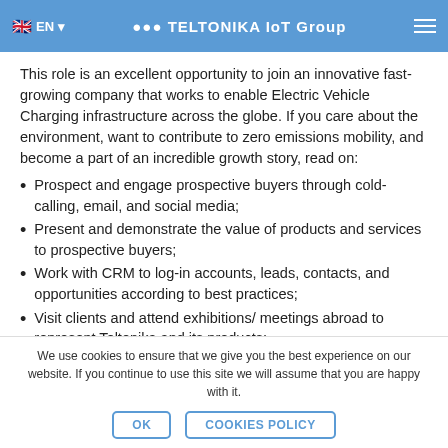EN | TELTONIKA IoT Group
This role is an excellent opportunity to join an innovative fast-growing company that works to enable Electric Vehicle Charging infrastructure across the globe. If you care about the environment, want to contribute to zero emissions mobility, and become a part of an incredible growth story, read on:
Prospect and engage prospective buyers through cold-calling, email, and social media;
Present and demonstrate the value of products and services to prospective buyers;
Work with CRM to log-in accounts, leads, contacts, and opportunities according to best practices;
Visit clients and attend exhibitions/ meetings abroad to represent Teltonika and its products;
We use cookies to ensure that we give you the best experience on our website. If you continue to use this site we will assume that you are happy with it.